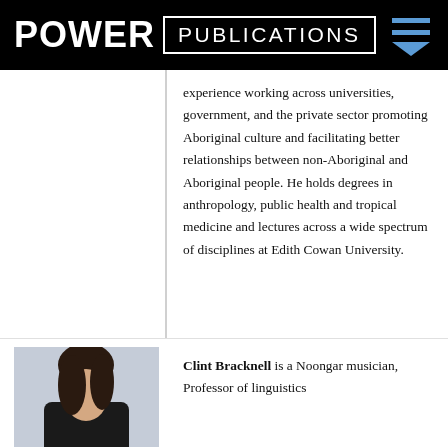POWER PUBLICATIONS
experience working across universities, government, and the private sector promoting Aboriginal culture and facilitating better relationships between non-Aboriginal and Aboriginal people. He holds degrees in anthropology, public health and tropical medicine and lectures across a wide spectrum of disciplines at Edith Cowan University.
[Figure (photo): Portrait photo of a person, partially visible, dark clothing, light background]
Clint Bracknell is a Noongar musician, Professor of linguistics